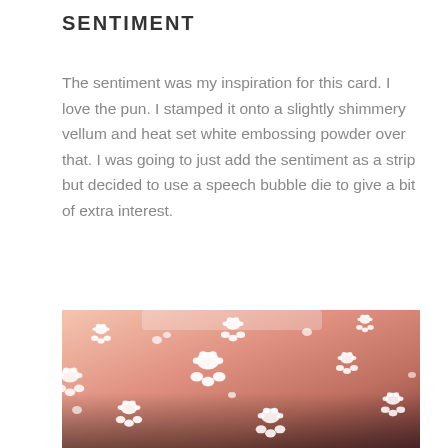SENTIMENT
The sentiment was my inspiration for this card. I love the pun. I stamped it onto a slightly shimmery vellum and heat set white embossing powder over that. I was going to just add the sentiment as a strip but decided to use a speech bubble die to give a bit of extra interest.
[Figure (photo): Close-up photo of a pink/salmon glittery surface covered with white embossed paw print patterns of various sizes, viewed at an angle.]